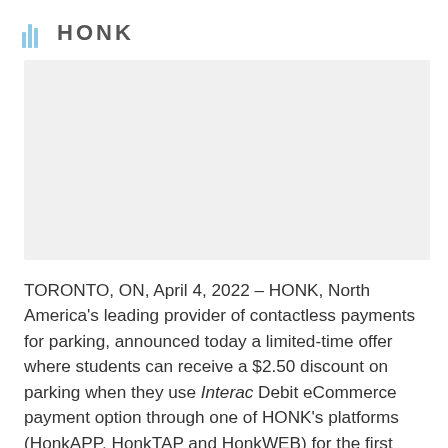HONK
[Figure (photo): Image placeholder area showing a gray/light background photo region]
TORONTO, ON, April 4, 2022 – HONK, North America's leading provider of contactless payments for parking, announced today a limited-time offer where students can receive a $2.50 discount on parking when they use Interac Debit eCommerce payment option through one of HONK's platforms (HonkAPP, HonkTAP and HonkWEB) for the first time.* The goal of the campaign is to bring awareness to this new payment method, giving the student community that